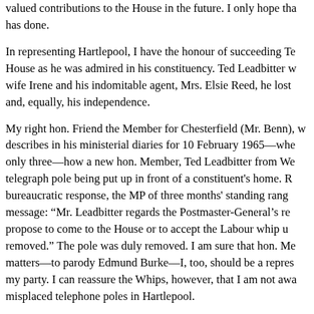valued contributions to the House in the future. I only hope that he has done.
In representing Hartlepool, I have the honour of succeeding Ted Leadbitter, who was as admired in this House as he was admired in his constituency. Ted Leadbitter was supported by his wife Irene and his indomitable agent, Mrs. Elsie Reed, he lost nothing of his integrity and, equally, his independence.
My right hon. Friend the Member for Chesterfield (Mr. Benn), who describes in his ministerial diaries for 10 February 1965—when he had been an MP for only three—how a new hon. Member, Ted Leadbitter from West, had complained about a telegraph pole being put up in front of a constituent's home. Receiving a bureaucratic response, the MP of three months' standing rang back with this message: "Mr. Leadbitter regards the Postmaster-General's response and does not propose to come to the House or to accept the Labour whip until the pole has been removed." The pole was duly removed. I am sure that hon. Members will agree that in matters—to parody Edmund Burke—I, too, should be a representative and not a tool of my party. I can reassure the Whips, however, that I am not aware of any similarly misplaced telephone poles in Hartlepool.
Ted Leadbitter's predecessor, the first Labour Member to be el...